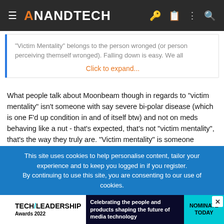AnandTech
"Victim Mentality" belongs to the person wronged (or person perceiving themself wronged). Falling down is easy. We all
Click to expand...
What people talk about Moonbeam though in regards to "victim mentality" isn't someone with say severe bi-polar disease (which is one F'd up condition in and of itself btw) and not on meds behaving like a nut - that's expected, that's not "victim mentality", that's the way they truly are. "Victim mentality" is someone b1tching and moaning about how their allergies are making their eyes water everyday, when they won't take the F'ing allergy medicine they've been proscribed (and can afford).
This site uses cookies to help personalise content, tailor your experience and to keep you logged in if you register.
By continuing to use this site, you are consenting to our use of cookies.
[Figure (screenshot): TechLeadership Awards 2022 advertisement banner: 'Celebrating the people and products shaping the future of media technology' with 'Nominate Today' call-to-action.]